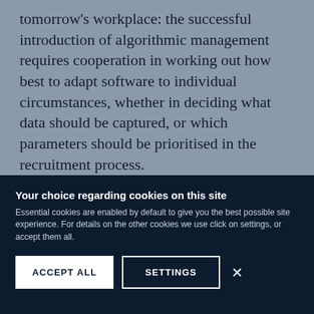tomorrow's workplace: the successful introduction of algorithmic management requires cooperation in working out how best to adapt software to individual circumstances, whether in deciding what data should be captured, or which parameters should be prioritised in the recruitment process.
It's not simply a question of legal regulation: we need to look at the roles of software developers, managers, and workers. There's little point in
Your choice regarding cookies on this site
Essential cookies are enabled by default to give you the best possible site experience. For details on the other cookies we use click on settings, or accept them all.